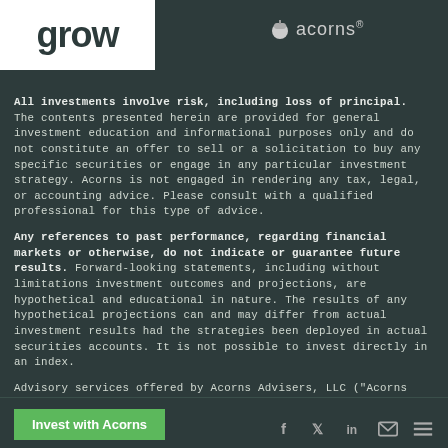grow | acorns®
All investments involve risk, including loss of principal. The contents presented herein are provided for general investment education and informational purposes only and do not constitute an offer to sell or a solicitation to buy any specific securities or engage in any particular investment strategy. Acorns is not engaged in rendering any tax, legal, or accounting advice. Please consult with a qualified professional for this type of advice.
Any references to past performance, regarding financial markets or otherwise, do not indicate or guarantee future results. Forward-looking statements, including without limitations investment outcomes and projections, are hypothetical and educational in nature. The results of any hypothetical projections can and may differ from actual investment results had the strategies been deployed in actual securities accounts. It is not possible to invest directly in an index.
Advisory services offered by Acorns Advisers, LLC ("Acorns Advisers"), an investment adviser registered with the U.S. Securities and
Invest with Acorns